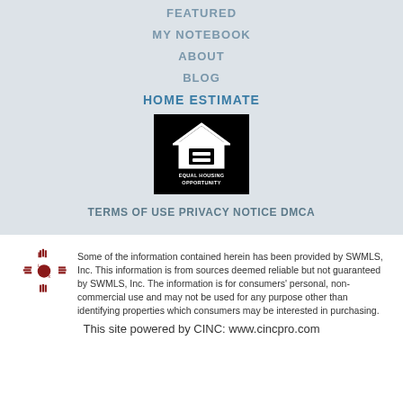FEATURED
MY NOTEBOOK
ABOUT
BLOG
HOME ESTIMATE
[Figure (logo): Equal Housing Opportunity logo — white house icon with equal sign on black background, text reads EQUAL HOUSING OPPORTUNITY]
TERMS OF USE PRIVACY NOTICE DMCA
[Figure (logo): IDX logo — New Mexico zia sun symbol in red with letters i, D, x]
Some of the information contained herein has been provided by SWMLS, Inc. This information is from sources deemed reliable but not guaranteed by SWMLS, Inc. The information is for consumers' personal, non-commercial use and may not be used for any purpose other than identifying properties which consumers may be interested in purchasing.
This site powered by CINC: www.cincpro.com